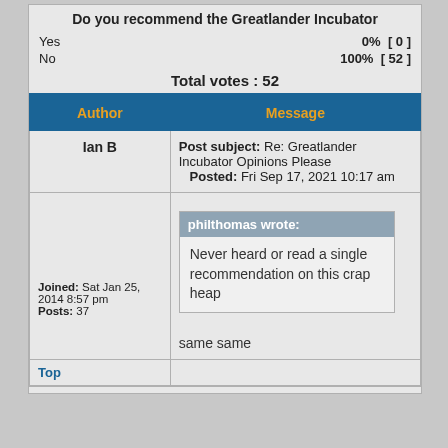Do you recommend the Greatlander Incubator
Yes  0%  [ 0 ]
No  100%  [ 52 ]
Total votes : 52
| Author | Message |
| --- | --- |
| Ian B | Post subject: Re: Greatlander Incubator Opinions Please
Posted: Fri Sep 17, 2021 10:17 am |
| Joined: Sat Jan 25, 2014 8:57 pm
Posts: 37 | philthomas wrote:
Never heard or read a single recommendation on this crap heap

same same |
Top